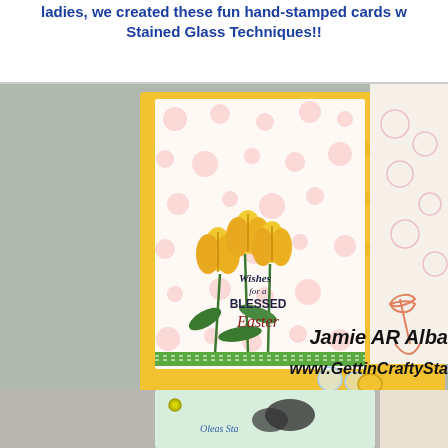ladies, we created these fun hand-stamped cards w Stained Glass Techniques!!
[Figure (photo): A hand-stamped Easter card with yellow tulips and 'Wishes for a BLESSED Easter' text on a white panel with pink polka dots, mounted on a yellow embossed card base with a green ribbon accent and clear rhinestone embellishments. Overlaid text reads 'Jamie AR Alba' and 'www.GettinCraftySta...' and '© Stampin' U...']
[Figure (photo): Bottom portion of another hand-stamped card, partially visible, showing a light blue/green card with black butterfly stamp and decorative elements.]